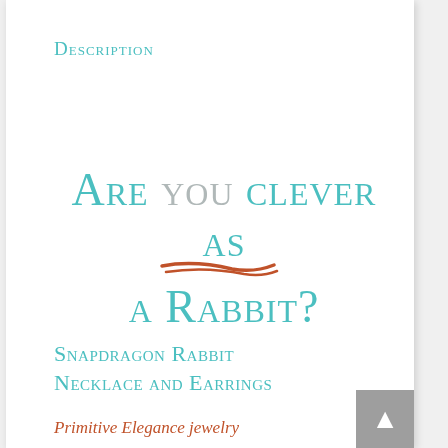Description
[Figure (illustration): Large decorative text reading 'Are you clever as a Rabbit?' in teal small-caps with a hand-drawn red underline beneath the word 'you']
Snapdragon Rabbit Necklace and Earrings
Primitive Elegance jewelry